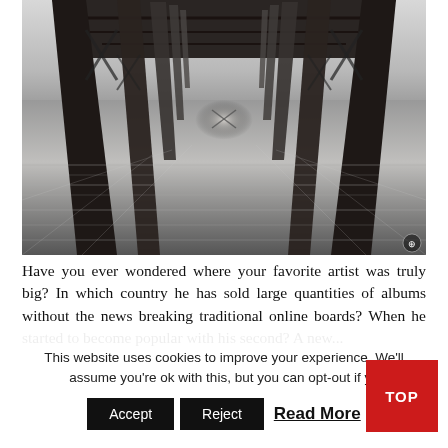[Figure (photo): Black and white long-exposure photograph taken from underneath a wooden ocean pier, looking toward the horizon. Water appears silky smooth due to long exposure. Dramatic perspective with repeating wooden pillars receding into the distance. A small expand icon is visible in the lower right corner of the image.]
Have you ever wondered where your favorite artist was truly big? In which country he has sold large quantities of albums without the news breaking traditional online boards? When he started to become popular with his second? A new...
This website uses cookies to improve your experience. We'll assume you're ok with this, but you can opt-out if yo...
Accept   Reject   Read More